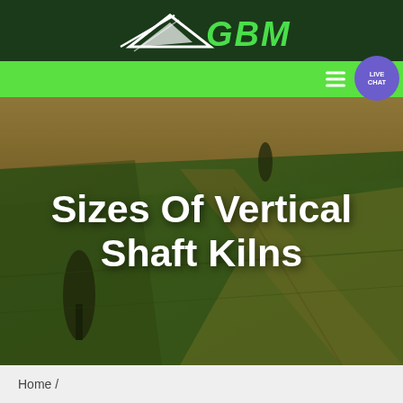[Figure (logo): GBM logo with arrow/triangle graphic and green bold italic text 'GBM' on dark green background header bar]
[Figure (photo): Aerial landscape photo of green and golden agricultural fields with trees, used as hero background image]
Sizes Of Vertical Shaft Kilns
Home /